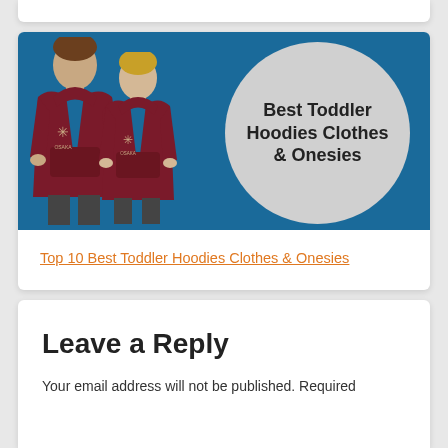[Figure (photo): Two boys wearing matching dark red/maroon hoodies with a star logo and 'OSAKA' text, standing against a blue background. A large grey circle on the right contains bold text reading 'Best Toddler Hoodies Clothes & Onesies'.]
Top 10 Best Toddler Hoodies Clothes & Onesies
Leave a Reply
Your email address will not be published. Required